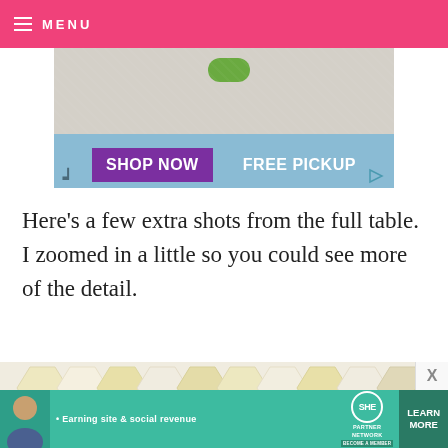MENU
[Figure (screenshot): Advertisement banner showing 'SHOP NOW' button in purple and 'FREE PICKUP' text on a light blue background]
Here’s a few extra shots from the full table. I zoomed in a little so you could see more of the detail.
[Figure (photo): Honeycomb-shaped decorative tiles in light yellow, cream, and pale colors arranged together]
[Figure (screenshot): SHE Partner Network advertisement: 'Earning site & social revenue', LEARN MORE button]